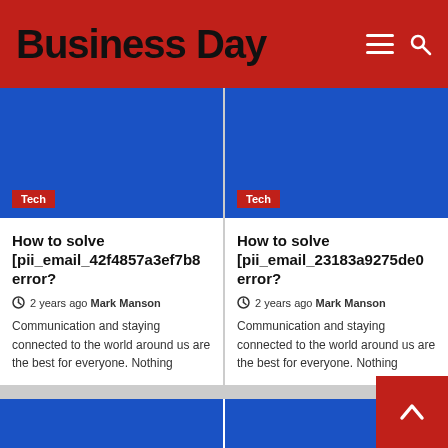Business Day
[Figure (illustration): Blue rectangle card image with red Tech tag label, left card]
How to solve [pii_email_42f4857a3ef7b8 error?
2 years ago  Mark Manson
Communication and staying connected to the world around us are the best for everyone. Nothing
[Figure (illustration): Blue rectangle card image with red Tech tag label, right card]
How to solve [pii_email_23183a9275de0 error?
2 years ago  Mark Manson
Communication and staying connected to the world around us are the best for everyone. Nothing
[Figure (illustration): Blue rectangle partial image, bottom left]
[Figure (illustration): Blue rectangle partial image, bottom right]